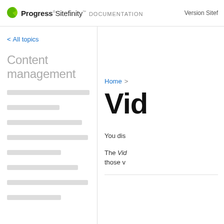Progress Sitefinity DOCUMENTATION   Version Sitef...
< All topics
Content management
Home >
Vid
You dis
The Vid those v